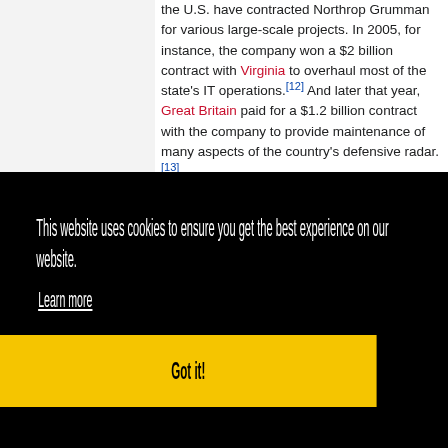the U.S. have contracted Northrop Grumman for various large-scale projects. In 2005, for instance, the company won a $2 billion contract with Virginia to overhaul most of the state's IT operations.[12] And later that year, Great Britain paid for a $1.2 billion contract with the company to provide maintenance of many aspects of the country's defensive radar.[13]
Northrop Grumman also performs various foreign functions in the War on Drugs. The company sends planes to spray herbicides on suspected cocaine fields in Colombia and ...[15]
...ted in Delaware in 1985. In 1994, Northrop Aircraft